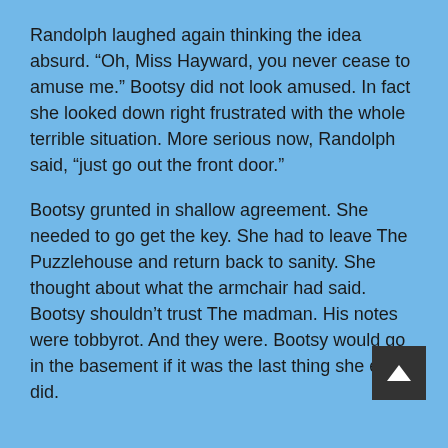Randolph laughed again thinking the idea absurd. “Oh, Miss Hayward, you never cease to amuse me.” Bootsy did not look amused. In fact she looked down right frustrated with the whole terrible situation. More serious now, Randolph said, “just go out the front door.”
Bootsy grunted in shallow agreement. She needed to go get the key. She had to leave The Puzzlehouse and return back to sanity. She thought about what the armchair had said. Bootsy shouldn’t trust The madman. His notes were tobbyrot. And they were. Bootsy would go in the basement if it was the last thing she ever did.
The basement presented itself in the same horrifying fashion that basements tend to. Not only was it dark but it smelled like something had been molding for the better part of a century. And, oh yes, the stairs creaked and moaned, cracked and echoed. Of course it was cold.
There was also a chorus of squeaking rats.